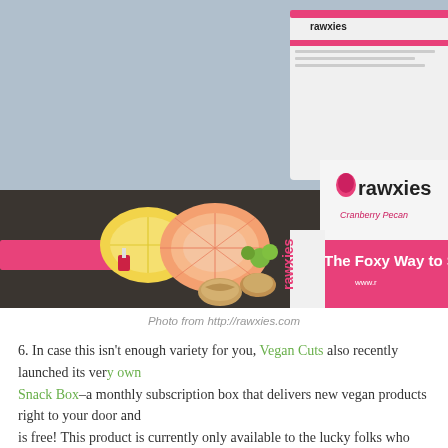[Figure (photo): Photo of Rawxies Cranberry Pecan snack box with pink branding reading 'The Foxy Way to S[nack]' and 'www.r[awxies.com]', surrounded by citrus fruit slices, walnuts, and small pink flowers on a dark surface against a blue-grey background.]
Photo from http://rawxies.com
6. In case this isn't enough variety for you, Vegan Cuts also recently launched its ver[y own] Snack Box–a monthly subscription box that delivers new vegan products right to yo[ur door and] is free! This product is currently only available to the lucky folks who reside in the U[S (insert] sad face here]. The October boxes are already sold out, but you can still pre-order fo[r November].